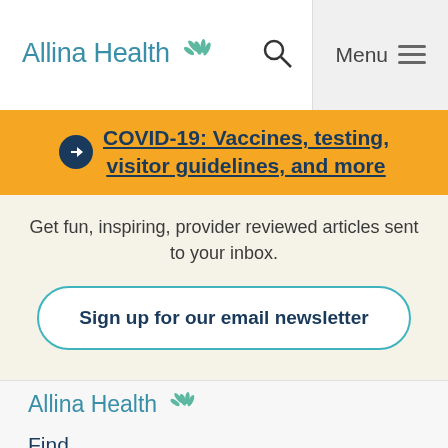Allina Health [logo] | Search | Menu
COVID-19: Vaccines, testing, visitor guidelines, and more
Get fun, inspiring, provider reviewed articles sent to your inbox.
Sign up for our email newsletter
[Figure (logo): Allina Health logo in footer]
Find